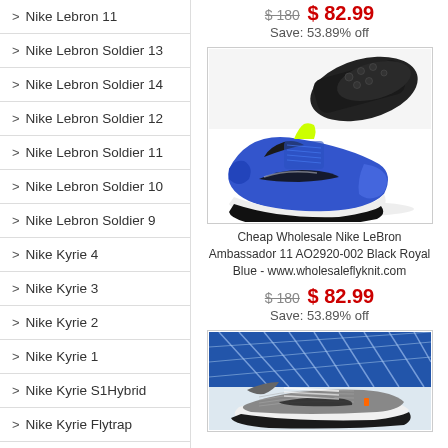> Nike Lebron 11
> Nike Lebron Soldier 13
> Nike Lebron Soldier 14
> Nike Lebron Soldier 12
> Nike Lebron Soldier 11
> Nike Lebron Soldier 10
> Nike Lebron Soldier 9
> Nike Kyrie 4
> Nike Kyrie 3
> Nike Kyrie 2
> Nike Kyrie 1
> Nike Kyrie S1Hybrid
> Nike Kyrie Flytrap
> Nike Kobe 1 Protro
> Nike Kobe A.D. Shoes
> Nike Kobe A.D. NXT
$ 180  $ 82.99
Save: 53.89% off
[Figure (photo): Nike LeBron Ambassador 11 AO2920-002 Black Royal Blue sneaker product photo showing blue/black colorway]
Cheap Wholesale Nike LeBron Ambassador 11 AO2920-002 Black Royal Blue - www.wholesaleflyknit.com
$ 180  $ 82.99
Save: 53.89% off
[Figure (photo): Nike sneaker product photo showing gray/black colorway with stadium background]